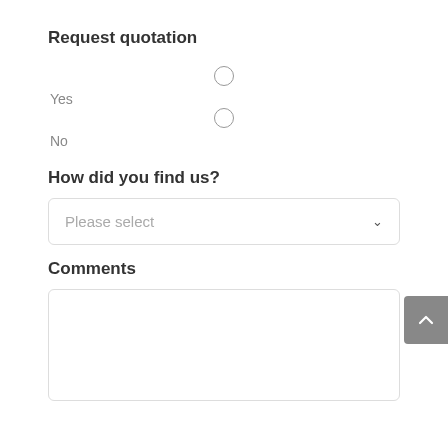Request quotation
Yes
No
How did you find us?
Please select
Comments